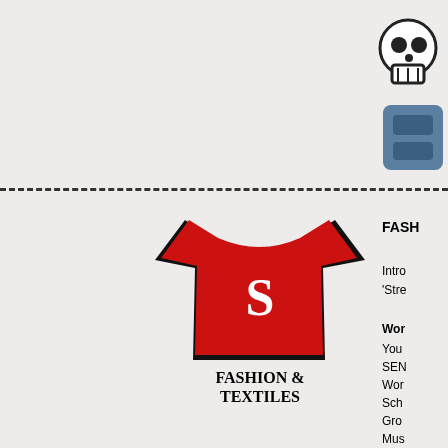[Figure (illustration): Partial skull icon in top-right corner]
[Figure (illustration): Blue figure/shape partially visible at top-right]
[Figure (illustration): Red t-shirt icon with white S letter and black outline]
FASHION &
TEXTILES
FASH
Intro
'Stre
Wor
You
SEN
Wor
Sch
Gro
Mus